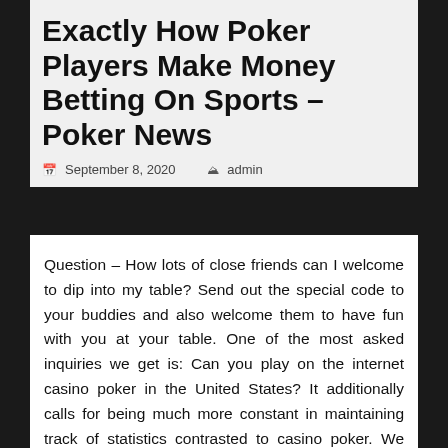Exactly How Poker Players Make Money Betting On Sports – Poker News
September 8, 2020  admin
Question – How lots of close friends can I welcome to dip into my table? Send out the special code to your buddies and also welcome them to have fun with you at your table. One of the most asked inquiries we get is: Can you play on the internet casino poker in the United States? It additionally calls for being much more constant in maintaining track of statistics contrasted to casino poker. We have all types of Poker For Free rewards to show to our participants, consisting of tee shirts,